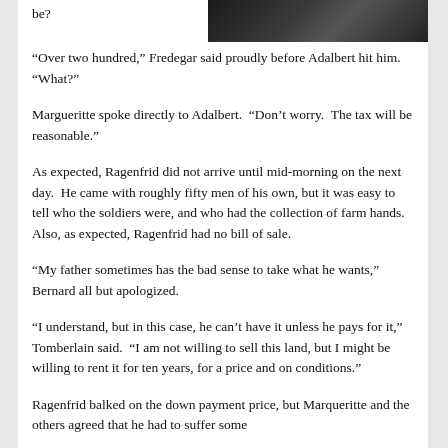[Figure (photo): Dark photographic image, partially visible at top right of page]
be?
“Over two hundred,” Fredegar said proudly before Adalbert hit him.  “What?”
Margueritte spoke directly to Adalbert.  “Don’t worry.  The tax will be reasonable.”
As expected, Ragenfrid did not arrive until mid-morning on the next day.  He came with roughly fifty men of his own, but it was easy to tell who the soldiers were, and who had the collection of farm hands.  Also, as expected, Ragenfrid had no bill of sale.
“My father sometimes has the bad sense to take what he wants,” Bernard all but apologized.
“I understand, but in this case, he can’t have it unless he pays for it,” Tomberlain said.  “I am not willing to sell this land, but I might be willing to rent it for ten years, for a price and on conditions.”
Ragenfrid balked on the down payment price, but Marqueritte and the others agreed that he had to suffer some